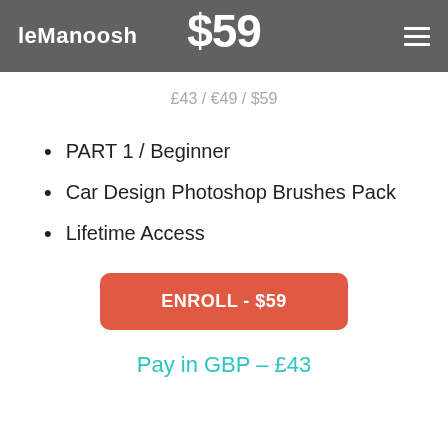leManoosh | $59 | ☰
£43 / €49 / $59
PART 1 / Beginner
Car Design Photoshop Brushes Pack
Lifetime Access
ENROLL - $59
Pay in GBP – £43